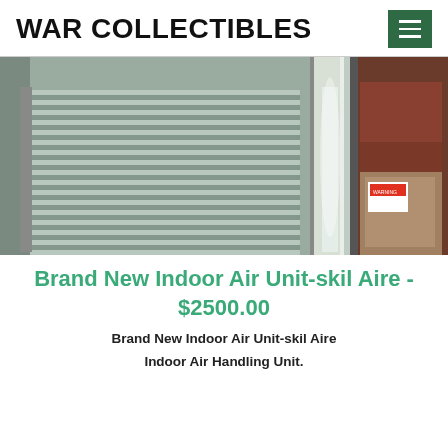WAR COLLECTIBLES
[Figure (photo): Indoor HVAC air handling unit with metallic louvered fins and ductwork in a storage/warehouse setting]
Brand New Indoor Air Unit-skil Aire - $2500.00
Brand New Indoor Air Unit-skil Aire
Indoor Air Handling Unit.